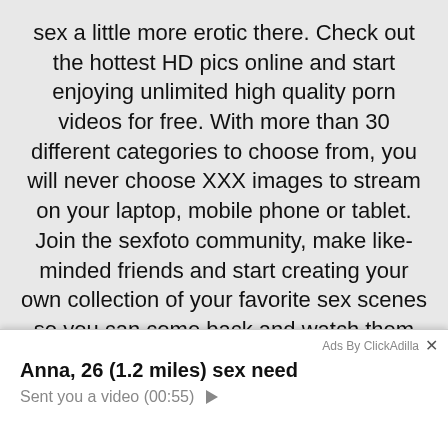sex a little more erotic there. Check out the hottest HD pics online and start enjoying unlimited high quality porn videos for free. With more than 30 different categories to choose from, you will never choose XXX images to stream on your laptop, mobile phone or tablet. Join the sexfoto community, make like-minded friends and start creating your own collection of your favorite sex scenes so you can come back and watch them anytime. Travel the world and experience the hottest sex in the world from the comfort of your sofa as you explore free mature ladies porn uploaded by our large community of international users. You can also check out exclusive content from your favorite porn studios with pictures in our channels section and see the top adult industry pornstars perform in their hot fucking scenes and upload your own amateur videos and pictures to our platform for other users
[Figure (screenshot): Ad overlay from ClickAdilla showing a notification-style ad: 'Anna, 26 (1.2 miles) sex need' with subtitle 'Sent you a video (00:55)' and a play button triangle. Top right shows 'Ads By ClickAdilla' with an X close button.]